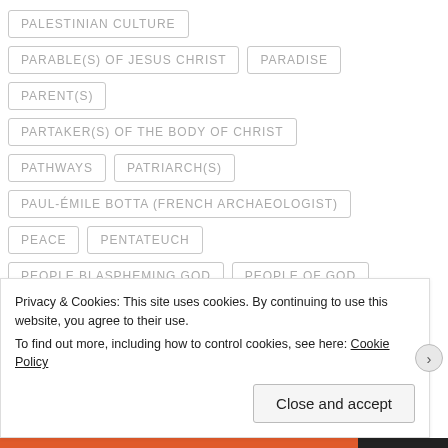PALESTINIAN CULTURE
PARABLE(S) OF JESUS CHRIST
PARADISE
PARENT(S)
PARTAKER(S) OF THE BODY OF CHRIST
PATHWAYS
PATRIARCH(S)
PAUL-ÉMILE BOTTA (FRENCH ARCHAEOLOGIST)
PEACE
PENTATEUCH
PEOPLE BLASPHEMING GOD
PEOPLE OF GOD
Privacy & Cookies: This site uses cookies. By continuing to use this website, you agree to their use. To find out more, including how to control cookies, see here: Cookie Policy
Close and accept